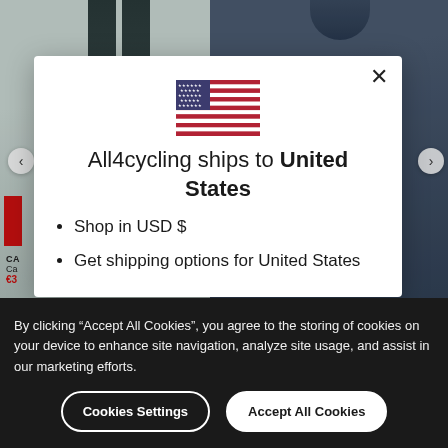[Figure (screenshot): Background showing cycling garments: a light grey/mint bib on the left and a dark navy jersey on the right, partially visible behind a modal dialog.]
All4cycling ships to United States
Shop in USD $
Get shipping options for United States
By clicking “Accept All Cookies”, you agree to the storing of cookies on your device to enhance site navigation, analyze site usage, and assist in our marketing efforts.
Cookies Settings
Accept All Cookies